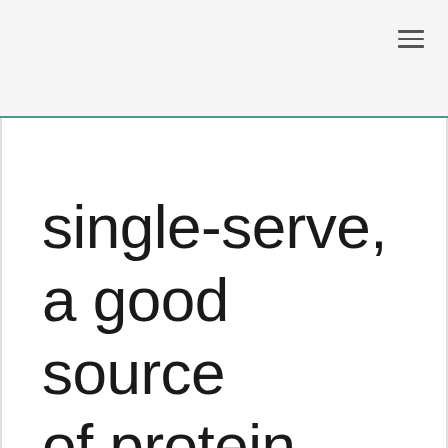single-serve, a good source of protein, and ready in minutes. The crust—a savory, egg-